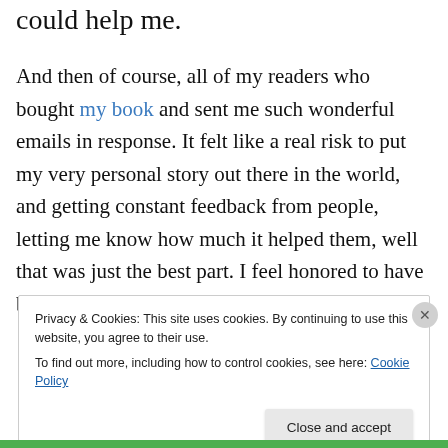could help me.
And then of course, all of my readers who bought my book and sent me such wonderful emails in response. It felt like a real risk to put my very personal story out there in the world, and getting constant feedback from people, letting me know how much it helped them, well that was just the best part. I feel honored to have been able to help such a
Privacy & Cookies: This site uses cookies. By continuing to use this website, you agree to their use.
To find out more, including how to control cookies, see here: Cookie Policy
Close and accept